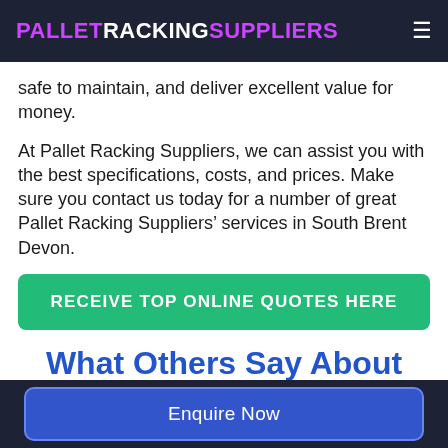PALLETRACKINGSUPPLIERS
safe to maintain, and deliver excellent value for money.
At Pallet Racking Suppliers, we can assist you with the best specifications, costs, and prices. Make sure you contact us today for a number of great Pallet Racking Suppliers' services in South Brent Devon.
RECEIVE TOP ONLINE QUOTES HERE
What Others Say About Our Services
Enquire Now